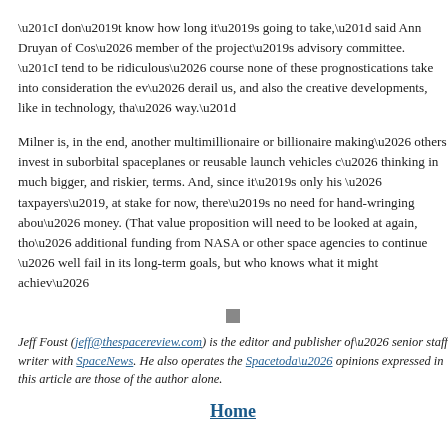“I don’t know how long it’s going to take,” said Ann Druyan of Cos… member of the project’s advisory committee. “I tend to be ridiculous… course none of these prognostications take into consideration the ev… derail us, and also the creative developments, like in technology, tha… way.”
Milner is, in the end, another multimillionaire or billionaire making… others invest in suborbital spaceplanes or reusable launch vehicles c… thinking in much bigger, and riskier, terms. And, since it’s only his … taxpayers’, at stake for now, there’s no need for hand-wringing abou… money. (That value proposition will need to be looked at again, tho… additional funding from NASA or other space agencies to continue … well fail in its long-term goals, but who knows what it might achiev…
Jeff Foust (jeff@thespacereview.com) is the editor and publisher of… senior staff writer with SpaceNews. He also operates the Spacetoda… opinions expressed in this article are those of the author alone.
Home